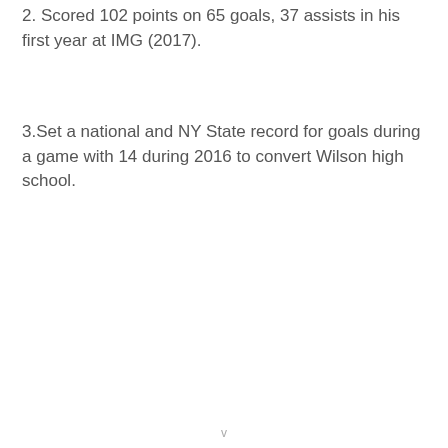2. Scored 102 points on 65 goals, 37 assists in his first year at IMG (2017).
3.Set a national and NY State record for goals during a game with 14 during 2016 to convert Wilson high school.
v